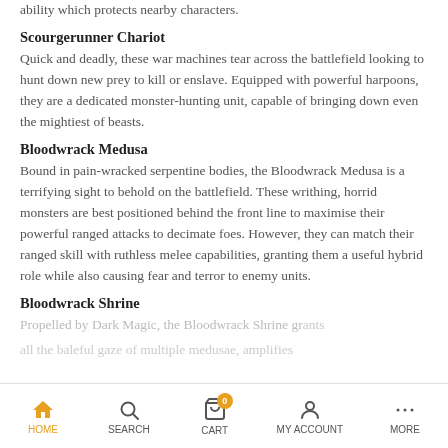ability which protects nearby characters.
Scourgerunner Chariot
Quick and deadly, these war machines tear across the battlefield looking to hunt down new prey to kill or enslave. Equipped with powerful harpoons, they are a dedicated monster-hunting unit, capable of bringing down even the mightiest of beasts.
Bloodwrack Medusa
Bound in pain-wracked serpentine bodies, the Bloodwrack Medusa is a terrifying sight to behold on the battlefield. These writhing, horrid monsters are best positioned behind the front line to maximise their powerful ranged attacks to decimate foes. However, they can match their ranged skill with ruthless melee capabilities, granting them a useful hybrid role while also causing fear and terror to enemy units.
Bloodwrack Shrine
Propelled by Dark Magic, the Bloodwrack Shrine grants nearby allies the baleful gaze of multiple medusae, amplifying...